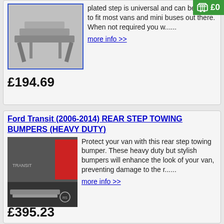[Figure (other): Green shopping cart button with £0 text in top right corner]
[Figure (photo): Chrome/aluminium van step product photo with blue border]
plated step is universal and can be made to fit most vans and mini buses out there. When not required you w......
more info >>
£194.69
Ford Transit (2006-2014) REAR STEP TOWING BUMPERS (HEAVY DUTY)
[Figure (photo): Rear step towing bumper fitted to a Ford Transit van, showing chrome step bar and red panel]
Protect your van with this rear step towing bumper. These heavy duty but stylish bumpers will enhance the look of your van, preventing damage to the r......
more info >>
£395.23